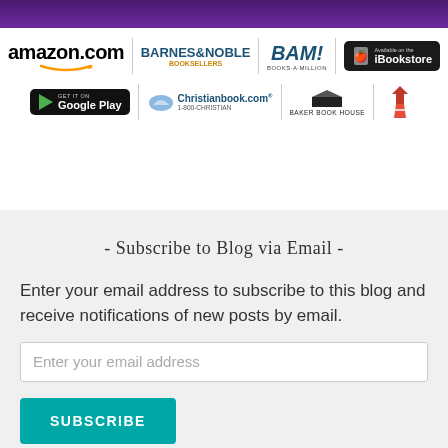[Figure (logo): Purple decorative header bar]
[Figure (logo): Retailer logos row 1: amazon.com, Barnes & Noble Booksellers, BAM! Books-A-Million, iBookstore]
[Figure (logo): Retailer logos row 2: Google Play, Christianbook.com 1-800-CHRISTIAN, Baker Book House, IndieBound]
- Subscribe to Blog via Email -
Enter your email address to subscribe to this blog and receive notifications of new posts by email.
Enter your email address
SUBSCRIBE